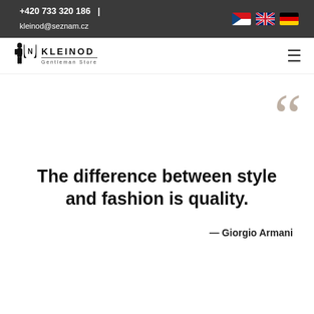+420 733 320 186  |  kleinod@seznam.cz
[Figure (logo): Kleinod Gentleman Store logo with silhouette figure and shield icon]
The difference between style and fashion is quality.
— Giorgio Armani